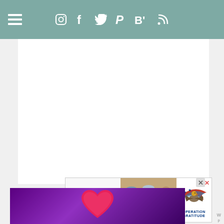Navigation header with hamburger menu and social icons: Instagram, Facebook, Twitter, Pinterest, Bloglovin, RSS
[Figure (screenshot): Operation Gratitude advertisement banner showing 'Thank you' handwritten text with patriotic pencil graphic, three masked healthcare workers holding cards, and Operation Gratitude logo with eagle and American flag]
[Figure (screenshot): Advertisement banner at bottom showing purple gradient background with pink heart, partially visible]